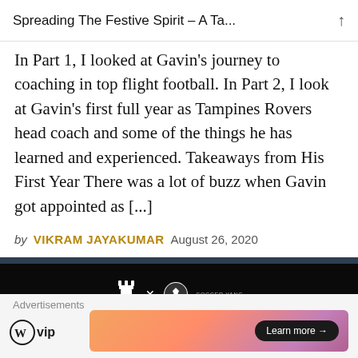Spreading The Festive Spirit – A Ta...
In Part 1, I looked at Gavin's journey to coaching in top flight football. In Part 2, I look at Gavin's first full year as Tampines Rovers head coach and some of the things he has learned and experienced. Takeaways from His First Year There was a lot of buzz when Gavin got appointed as [...]
by VIKRAM JAYAKUMAR   August 26, 2020
[Figure (photo): Dark promotional banner with chess piece and soccer ball logos, text reading 'HOW DO WE RAISE THE STOCK OF SINGAPOREAN']
Advertisements
[Figure (logo): WordPress VIP logo with W icon]
[Figure (photo): WordPress VIP advertisement banner with gradient background and 'Learn more' button]